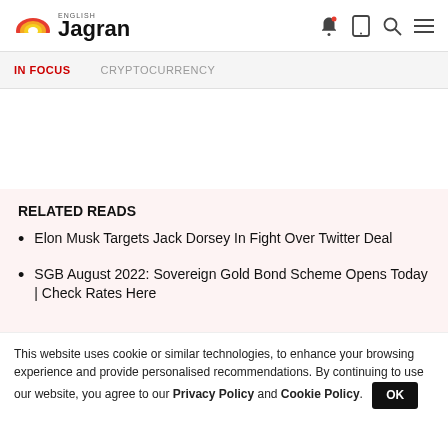English Jagran
IN FOCUS   CRYPTOCURRENCY
RELATED READS
Elon Musk Targets Jack Dorsey In Fight Over Twitter Deal
SGB August 2022: Sovereign Gold Bond Scheme Opens Today | Check Rates Here
This website uses cookie or similar technologies, to enhance your browsing experience and provide personalised recommendations. By continuing to use our website, you agree to our Privacy Policy and Cookie Policy.